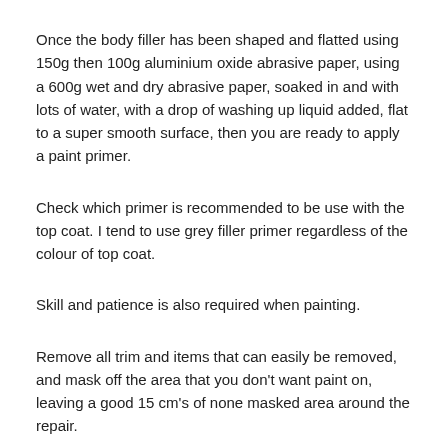Once the body filler has been shaped and flatted using 150g then 100g aluminium oxide abrasive paper, using a 600g wet and dry abrasive paper, soaked in and with lots of water, with a drop of washing up liquid added, flat to a super smooth surface, then you are ready to apply a paint primer.
Check which primer is recommended to be use with the top coat. I tend to use grey filler primer regardless of the colour of top coat.
Skill and patience is also required when painting.
Remove all trim and items that can easily be removed, and mask off the area that you don't want paint on, leaving a good 15 cm's of none masked area around the repair.